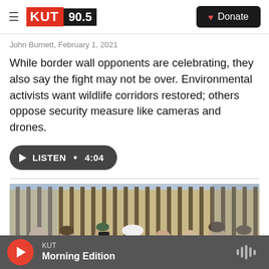KUT 90.5 | Donate
John Burnett, February 1, 2021
While border wall opponents are celebrating, they also say the fight may not be over. Environmental activists want wildlife corridors restored; others oppose security measure like cameras and drones.
LISTEN • 4:04
[Figure (photo): Crowd of people standing near a border wall/fence, viewed from behind, wearing winter clothing including hats and hoodies. A person in the center appears to be photographing or filming the fence.]
KUT Morning Edition